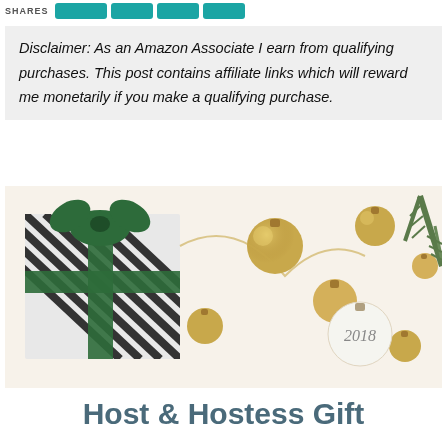SHARES
Disclaimer: As an Amazon Associate I earn from qualifying purchases. This post contains affiliate links which will reward me monetarily if you make a qualifying purchase.
[Figure (photo): Christmas holiday photo showing a striped gift box with green ribbon, gold ornament balls scattered on white background, a 2018 ornament tag, and pine/fir branches]
Host & Hostess Gift